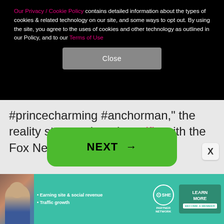Our Privacy / Cookie Policy contains detailed information about the types of cookies & related technology on our site, and some ways to opt out. By using the site, you agree to the uses of cookies and other technology as outlined in our Policy, and to our Terms of Use
Close
#princecharming #anchorman," the reality star captioned a selfie with the Fox News journalist.
NEXT →
[Figure (screenshot): Advertisement banner for SHE PARTNER NETWORK with a woman photo, bullet points about earning site & social revenue and traffic growth, SHE logo, and LEARN MORE button with BECOME A MEMBER tag]